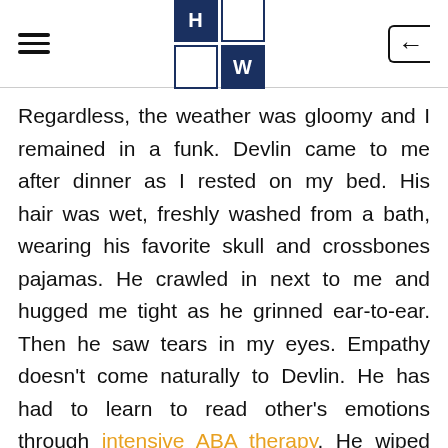HW logo and navigation header
Regardless, the weather was gloomy and I remained in a funk. Devlin came to me after dinner as I rested on my bed. His hair was wet, freshly washed from a bath, wearing his favorite skull and crossbones pajamas. He crawled in next to me and hugged me tight as he grinned ear-to-ear. Then he saw tears in my eyes. Empathy doesn't come naturally to Devlin. He has had to learn to read other's emotions through intensive ABA therapy. He wiped my tears and asked me if I was sad. I told him yes, that sometimes mommies get sad, but I would be okay. Then he proposed to sing a song to me to make me feel better. Dev will hum songs to himself, but he has never sung